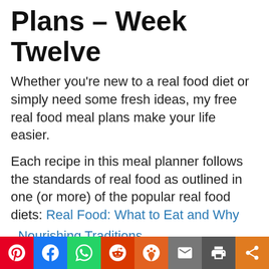Plans – Week Twelve
Whether you're new to a real food diet or simply need some fresh ideas, my free real food meal plans make your life easier.
Each recipe in this meal planner follows the standards of real food as outlined in one (or more) of the popular real food diets: Real Food: What to Eat and Why
, Nourishing Traditions
, the Paleo diet
, the Whole 30 Diet
, the Ketogenic die